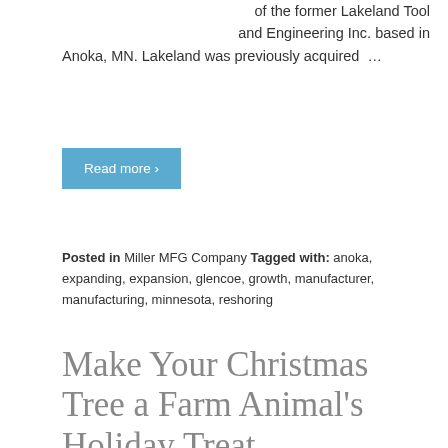of the former Lakeland Tool and Engineering Inc. based in Anoka, MN. Lakeland was previously acquired …
Read more ›
Posted in Miller MFG Company Tagged with: anoka, expanding, expansion, glencoe, growth, manufacturer, manufacturing, minnesota, reshoring
Make Your Christmas Tree a Farm Animal's Holiday Treat
[Figure (photo): A goat or farm animal near a Christmas tree with green branches]
The holidays are quickly approaching and before you know it, you will be tasked